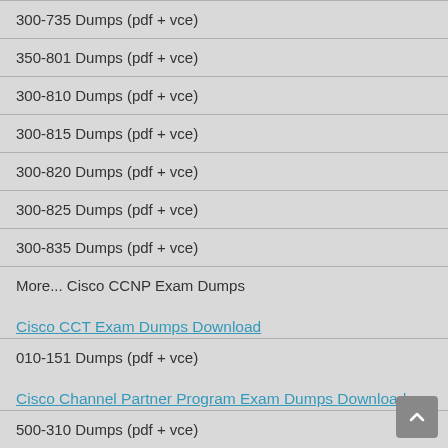300-735 Dumps (pdf + vce)
350-801 Dumps (pdf + vce)
300-810 Dumps (pdf + vce)
300-815 Dumps (pdf + vce)
300-820 Dumps (pdf + vce)
300-825 Dumps (pdf + vce)
300-835 Dumps (pdf + vce)
More... Cisco CCNP Exam Dumps
Cisco CCT Exam Dumps Download
010-151 Dumps (pdf + vce)
Cisco Channel Partner Program Exam Dumps Download
500-310 Dumps (pdf + vce)